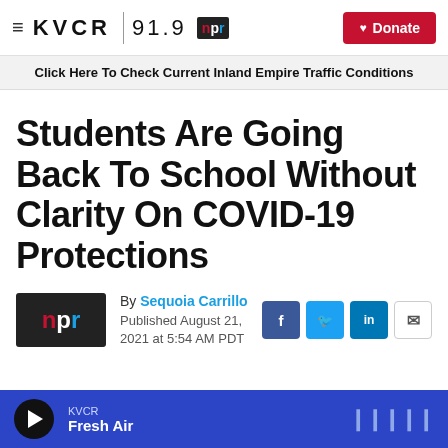KVCR 91.9 | npr | Donate
Click Here To Check Current Inland Empire Traffic Conditions
Students Are Going Back To School Without Clarity On COVID-19 Protections
By Sequoia Carrillo
Published August 21, 2021 at 5:54 AM PDT
KVCR Fresh Air